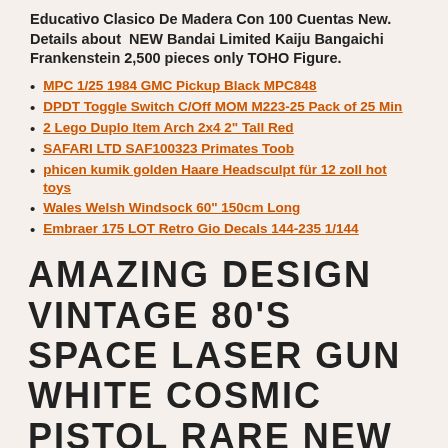Educativo Clasico De Madera Con 100 Cuentas New. Details about NEW Bandai Limited Kaiju Bangaichi Frankenstein 2,500 pieces only TOHO Figure.
MPC 1/25 1984 GMC Pickup Black MPC848
DPDT Toggle Switch C/Off MOM M223-25 Pack of 25 Min
2 Lego Duplo Item Arch 2x4 2" Tall Red
SAFARI LTD SAF100323 Primates Toob
phicen kumik golden Haare Headsculpt für 12 zoll hot toys
Wales Welsh Windsock 60" 150cm Long
Embraer 175 LOT Retro Gio Decals 144-235 1/144
AMAZING DESIGN VINTAGE 80'S SPACE LASER GUN WHITE COSMIC PISTOL RARE NEW MIB !
wellcoda Imagination Art Mens Sweatshirt. Men's Alloy Genuine Leather Bracelet Bangle Cuff Silver Brown Cord Biker